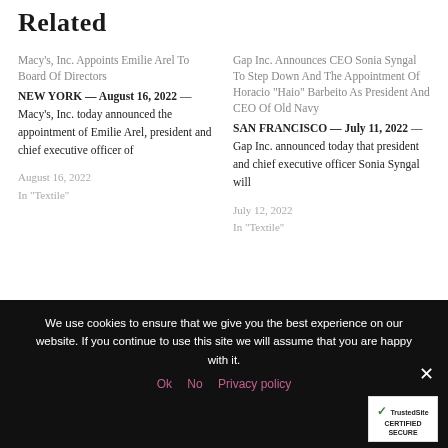Related
Macy's, Inc. Appoints Emilie Arel To Board Of Directors
NEW YORK — August 16, 2022 — Macy's, Inc. today announced the appointment of Emilie Arel, president and chief executive officer of
August 16, 2022
In "Textile"
Gap Inc. Announces CEO Sonia Syngal To Step Down And The Appointment Of Horacio "Haio" Barbeito As President And CEO Of Old Navy
SAN FRANCISCO — July 11, 2022 — Gap Inc. announced today that president and chief executive officer Sonia Syngal will
July 12, 2022
In "Textile"
We use cookies to ensure that we give you the best experience on our website. If you continue to use this site we will assume that you are happy with it.
Ok  No  Privacy policy